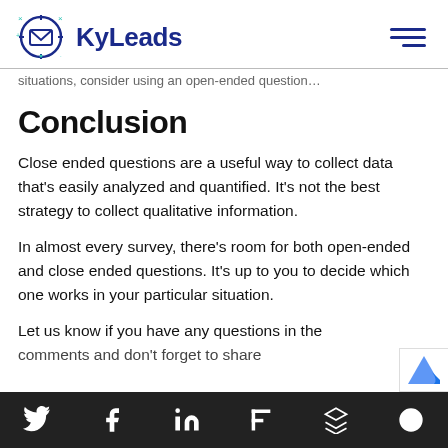KyLeads
…situations, consider using an open-ended question…
Conclusion
Close ended questions are a useful way to collect data that's easily analyzed and quantified. It's not the best strategy to collect qualitative information.
In almost every survey, there's room for both open-ended and close ended questions. It's up to you to decide which one works in your particular situation.
Let us know if you have any questions in the comments and don't forget to share
Social share bar: Twitter, Facebook, LinkedIn, Flipboard, Buffer, Other